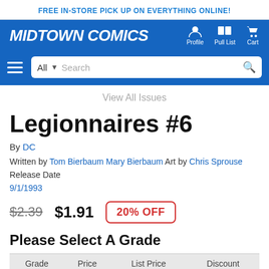FREE IN-STORE PICK UP ON EVERYTHING ONLINE!
[Figure (screenshot): Midtown Comics navigation header with logo, Profile, Pull List, and Cart icons]
View All Issues
Legionnaires #6
By DC
Written by Tom Bierbaum Mary Bierbaum Art by Chris Sprouse Release Date
9/1/1993
$2.39  $1.91  20% OFF
Please Select A Grade
| Grade | Price | List Price | Discount |
| --- | --- | --- | --- |